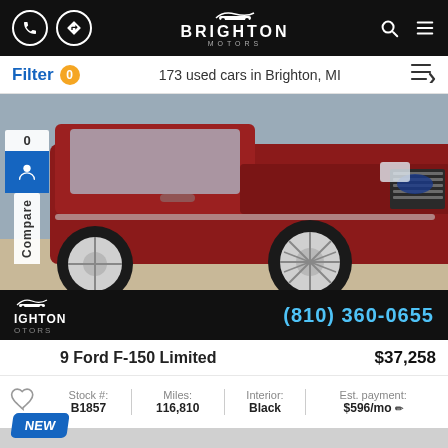Brighton Motors navigation bar with phone, directions, logo, search and menu icons
Filter 0   173 used cars in Brighton, MI
[Figure (photo): Red Ford F-150 Limited truck parked on a lot, viewed from the front-left angle. Brighton Motors dealer overlay at bottom with phone number (810) 360-0655.]
2019 Ford F-150 Limited   $37,258
| Stock #: | Miles: | Interior: | Est. payment: |
| --- | --- | --- | --- |
| B1857 | 116,810 | Black | $596/mo |
NEW